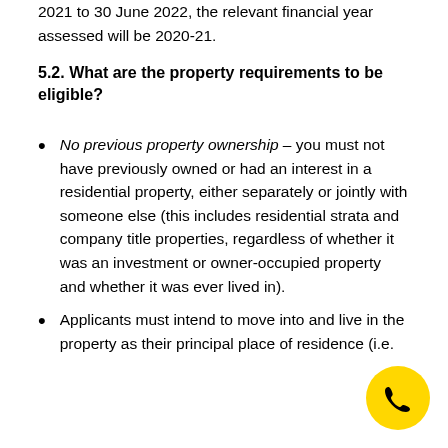2021 to 30 June 2022, the relevant financial year assessed will be 2020-21.
5.2. What are the property requirements to be eligible?
No previous property ownership – you must not have previously owned or had an interest in a residential property, either separately or jointly with someone else (this includes residential strata and company title properties, regardless of whether it was an investment or owner-occupied property and whether it was ever lived in).
Applicants must intend to move into and live in the property as their principal place of residence (i.e.